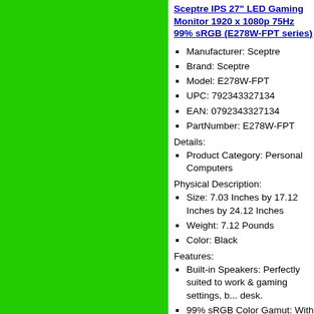Sceptre IPS 27" LED Gaming Monitor 1920 x 1080p 75Hz 99% sRGB (E278W-FPT series)
Manufacturer: Sceptre
Brand: Sceptre
Model: E278W-FPT
UPC: 792343327134
EAN: 0792343327134
PartNumber: E278W-FPT
Details:
Product Category: Personal Computers
Physical Description:
Size: 7.03 Inches by 17.12 Inches by 24.12 Inches
Weight: 7.12 Pounds
Color: Black
Features:
Built-in Speakers: Perfectly suited to work & gaming settings, b... desk.
99% sRGB Color Gamut: With 99% sRGB, this monitor offers a... and defining features.
IPS Panel: The IPS (In-Plane Switching) panel cannot be beat w... visibility from multiple viewing angles.